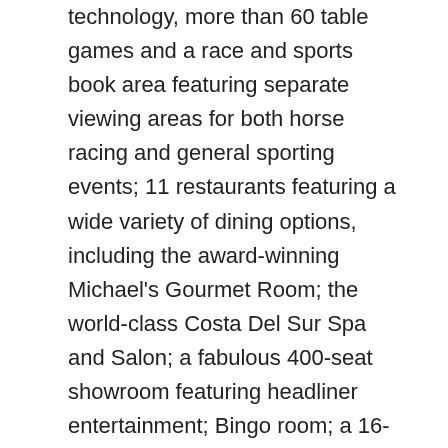technology, more than 60 table games and a race and sports book area featuring separate viewing areas for both horse racing and general sporting events; 11 restaurants featuring a wide variety of dining options, including the award-winning Michael's Gourmet Room; the world-class Costa Del Sur Spa and Salon; a fabulous 400-seat showroom featuring headliner entertainment; Bingo room; a 16-screen Cinemark movie complex; a state-of-the-art, 64-lane bowling center for friends and family to enjoy; and a 52,000-square foot Conference Center and an 80,000-square foot Exhibit Hall. South Point Hotel is also home to the South Point Bowling Plaza, a multi-million dollar professional bowling tournament facility. The 90,000-square-foot professional bowling facility includes 60 lanes with